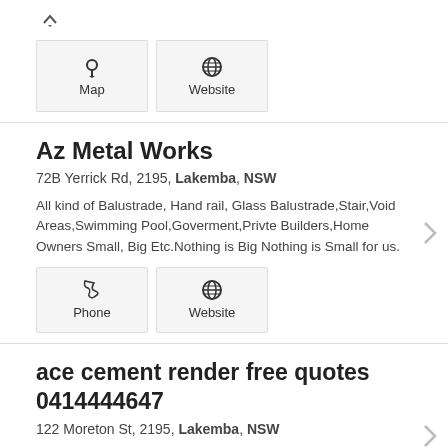[Figure (other): Top section with Map and Website buttons (partial listing above)]
Az Metal Works
72B Yerrick Rd, 2195, Lakemba, NSW
All kind of Balustrade, Hand rail, Glass Balustrade,Stair,Void Areas,Swimming Pool,Goverment,Privte Builders,Home Owners Small, Big Etc.Nothing is Big Nothing is Small for us.
[Figure (other): Phone and Website buttons for Az Metal Works]
ace cement render free quotes 0414444647
122 Moreton St, 2195, Lakemba, NSW
Wireless Broadband that is portable, simple to set up and requires no professional installation. Access available at similar prices to current